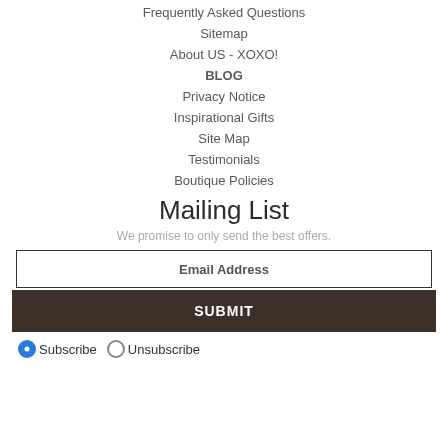Frequently Asked Questions
Sitemap
About US - XOXO!
BLOG
Privacy Notice
Inspirational Gifts
Site Map
Testimonials
Boutique Policies
Mailing List
We promise to only send the best offers.
Email Address
SUBMIT
Subscribe   Unsubscribe